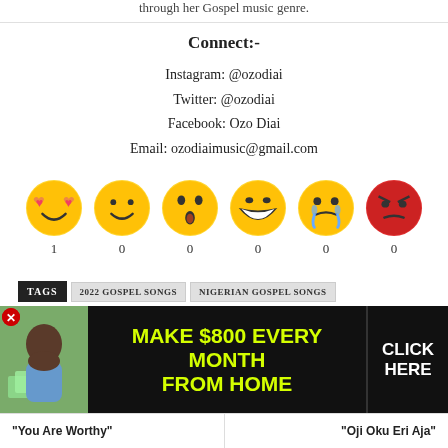through her Gospel music genre.
Connect:-
Instagram: @ozodiai
Twitter: @ozodiai
Facebook: Ozo Diai
Email: ozodiaimusic@gmail.com
[Figure (infographic): Six emoji reaction icons (love, smile, wow, laugh, cry, angry) with counts: 1, 0, 0, 0, 0, 0]
TAGS: 2022 GOSPEL SONGS, NIGERIAN GOSPEL SONGS
[Figure (infographic): Advertisement banner: MAKE $800 EVERY MONTH FROM HOME - CLICK HERE]
"You Are Worthy"
"Oji Oku Eri Aja"